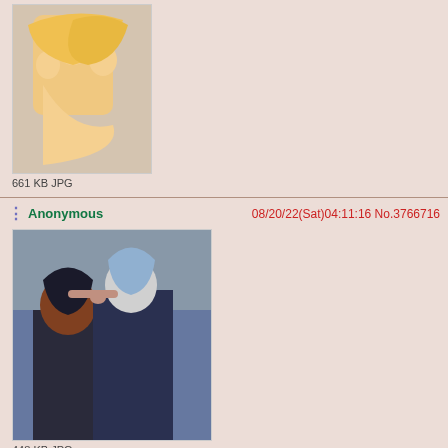[Figure (screenshot): Top partial post showing an anime illustration thumbnail, 661 KB JPG]
661 KB JPG
Anonymous 08/20/22(Sat)04:11:16 No.3766716
[Figure (illustration): Anime illustration of two characters kissing, one with blue-grey hair, 448 KB JPG]
448 KB JPG
Anonymous 08/20/22(Sat)04:12:22 No.3766717
[Figure (illustration): Anime manga-style illustration with Japanese text, 187 KB JPG]
187 KB JPG